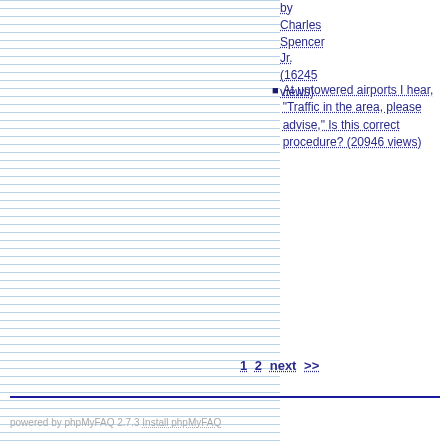by Charles Spencer Jr. (16245 views)
At untowered airports I hear, "Traffic in the area, please advise," Is this correct procedure? (20946 views)
1  2  next  >>
powered by phpMyFAQ 2.7.3 Install phpMyFAQ